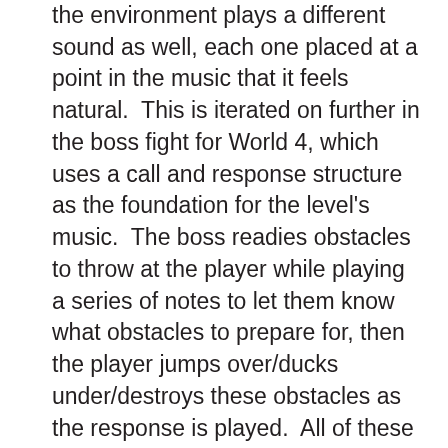the environment plays a different sound as well, each one placed at a point in the music that it feels natural.  This is iterated on further in the boss fight for World 4, which uses a call and response structure as the foundation for the level's music.  The boss readies obstacles to throw at the player while playing a series of notes to let them know what obstacles to prepare for, then the player jumps over/ducks under/destroys these obstacles as the response is played.  All of these aspects lead to a final audio track for each run of a level that is unique to that player, based on what collectibles and power-ups the player grabbed, and if they hit them at the correct time.  This results in an aural experience that is much more reactive than even most rhythm games, where the player is expected to perform the audio the game wants rather than dynamically create their own.  The end result is a more reactive take on flow, that feels just as elegant as Dustforce, but while Dustforce wants you to feel a detachment between the music and the gameplay, Runner2 wants you to feel like you are helping create it.  Both takes